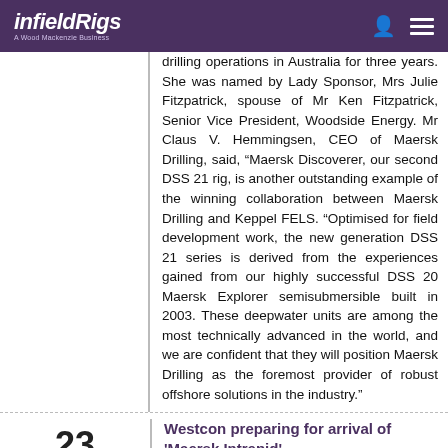infieldRigs — A Wood Mackenzie Business
drilling operations in Australia for three years. She was named by Lady Sponsor, Mrs Julie Fitzpatrick, spouse of Mr Ken Fitzpatrick, Senior Vice President, Woodside Energy. Mr Claus V. Hemmingsen, CEO of Maersk Drilling, said, “Maersk Discoverer, our second DSS 21 rig, is another outstanding example of the winning collaboration between Maersk Drilling and Keppel FELS. “Optimised for field development work, the new generation DSS 21 series is derived from the experiences gained from our highly successful DSS 20 Maersk Explorer semisubmersible built in 2003. These deepwater units are among the most technically advanced in the world, and we are confident that they will position Maersk Drilling as the foremost provider of robust offshore solutions in the industry.”
Westcon preparing for arrival of 'Maersk Intrepid'
The candid document is describing that “Around